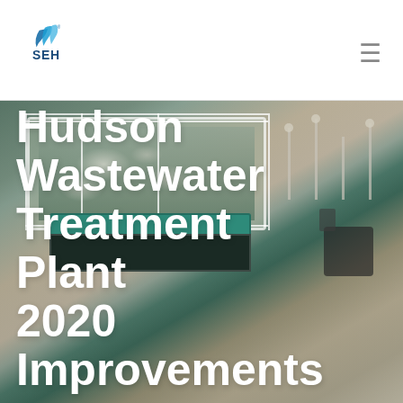[Figure (logo): SEH company logo with blue stylized swoosh/wave marks above the text SEH]
[Figure (photo): Aerial view of Hudson Wastewater Treatment Plant showing aeration basins with foam, green pipes, dark holding tanks, metal railings, and surrounding pavement]
Hudson Wastewater Treatment Plant 2020 Improvements